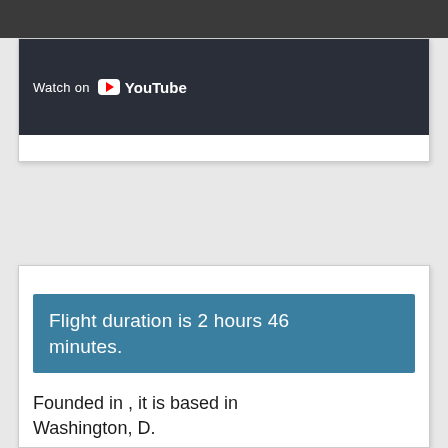≡
[Figure (screenshot): YouTube video thumbnail with dark background showing 'Watch on YouTube' text with YouTube logo]
Flight duration is 2 hours 46 minutes.
Founded in , it is based in Washington, D.
Book one-way or return flights from Manhattan to